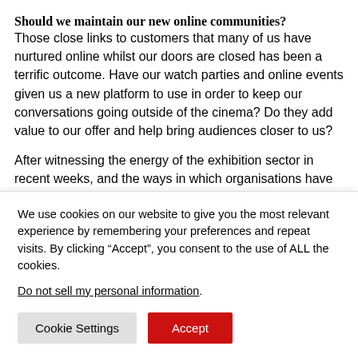Should we maintain our new online communities?
Those close links to customers that many of us have nurtured online whilst our doors are closed has been a terrific outcome. Have our watch parties and online events given us a new platform to use in order to keep our conversations going outside of the cinema? Do they add value to our offer and help bring audiences closer to us?
After witnessing the energy of the exhibition sector in recent weeks, and the ways in which organisations have
We use cookies on our website to give you the most relevant experience by remembering your preferences and repeat visits. By clicking “Accept”, you consent to the use of ALL the cookies.
Do not sell my personal information.